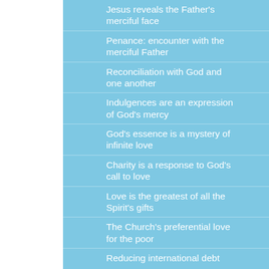Jesus reveals the Father's merciful face
Penance: encounter with the merciful Father
Reconciliation with God and one another
Indulgences are an expression of God's mercy
God's essence is a mystery of infinite love
Charity is a response to God's call to love
Love is the greatest of all the Spirit's gifts
The Church's preferential love for the poor
Reducing international debt